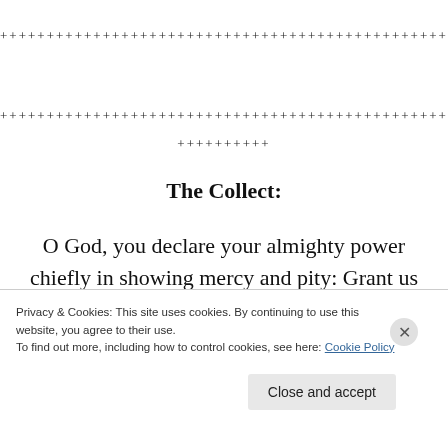++++++++++++++++++++++++++++++++++++++++++++++++++
++++++++++
The Collect:
O God, you declare your almighty power chiefly in showing mercy and pity: Grant us the fullness of your grace, that we, running to obtain your promises, may become partakers of your heavenly treasure; through
Privacy & Cookies: This site uses cookies. By continuing to use this website, you agree to their use.
To find out more, including how to control cookies, see here: Cookie Policy